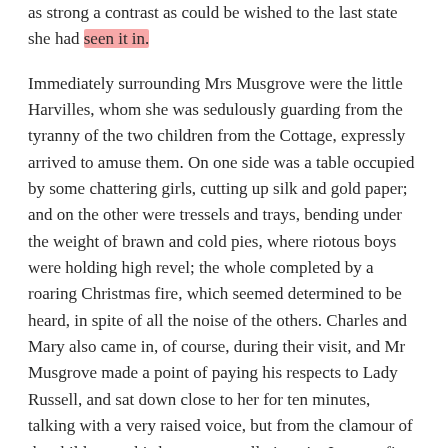as strong a contrast as could be wished to the last state she had seen it in.
Immediately surrounding Mrs Musgrove were the little Harvilles, whom she was sedulously guarding from the tyranny of the two children from the Cottage, expressly arrived to amuse them. On one side was a table occupied by some chattering girls, cutting up silk and gold paper; and on the other were tressels and trays, bending under the weight of brawn and cold pies, where riotous boys were holding high revel; the whole completed by a roaring Christmas fire, which seemed determined to be heard, in spite of all the noise of the others. Charles and Mary also came in, of course, during their visit, and Mr Musgrove made a point of paying his respects to Lady Russell, and sat down close to her for ten minutes, talking with a very raised voice, but from the clamour of the children on his knees, generally in vain. It was a fine family-piece.
Anne, judging from her own temperament, would have deemed such a domestic hurricane a bad restorative of the nerves, which Louisa's illness must have so greatly shaken. But Mrs Musgrove,